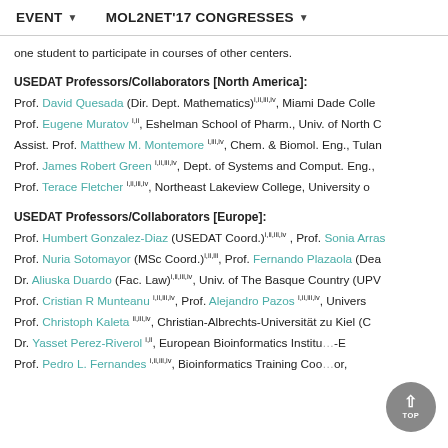EVENT ▼   MOL2NET'17 CONGRESSES ▼
one student to participate in courses of other centers.
USEDAT Professors/Collaborators [North America]:
Prof. David Quesada (Dir. Dept. Mathematics)i,ii,iii,iv, Miami Dade Colle…
Prof. Eugene Muratov i,ii, Eshelman School of Pharm., Univ. of North C…
Assist. Prof. Matthew M. Montemore i,iii,iv, Chem. & Biomol. Eng., Tulan…
Prof. James Robert Green i,ii,iii,iv, Dept. of Systems and Comput. Eng.,…
Prof. Terace Fletcher i,ii,iii,iv, Northeast Lakeview College, University o…
USEDAT Professors/Collaborators [Europe]:
Prof. Humbert Gonzalez-Diaz (USEDAT Coord.)i,ii,iii,iv , Prof. Sonia Arras…
Prof. Nuria Sotomayor (MSc Coord.)i,ii,iii, Prof. Fernando Plazaola (Dea…
Dr. Aliuska Duardo (Fac. Law)i,ii,iii,iv, Univ. of The Basque Country (UPV…
Prof. Cristian R Munteanu i,ii,iii,iv, Prof. Alejandro Pazos i,ii,iii,iv, Univers…
Prof. Christoph Kaleta ii,iii,iv, Christian-Albrechts-Universität zu Kiel (C…
Dr. Yasset Perez-Riverol i,ii, European Bioinformatics Institute…-E…
Prof. Pedro L. Fernandes i,ii,iii,iv, Bioinformatics Training Coo… or,